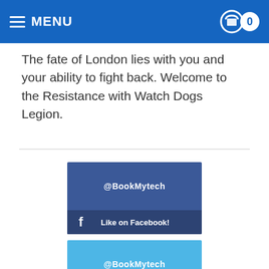MENU | 0
The fate of London lies with you and your ability to fight back. Welcome to the Resistance with Watch Dogs Legion.
[Figure (screenshot): Facebook social media widget showing @BookMytech handle with 'Like on Facebook!' button in dark blue]
[Figure (screenshot): Twitter social media widget showing @BookMytech handle with 'Follow on Twitter!' button in lighter blue]